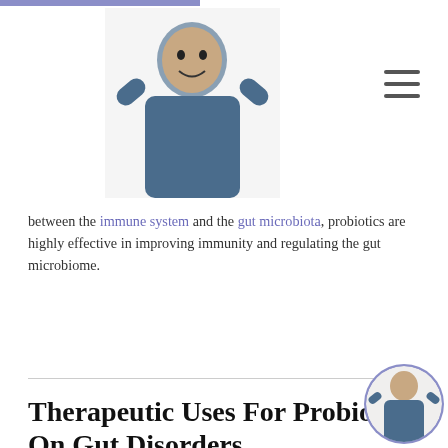[Figure (photo): Doctor in blue scrubs giving thumbs up, positioned as site logo/header]
[Figure (other): Hamburger menu icon (three horizontal lines)]
between the  immune system  and the  gut microbiota, probiotics are highly effective in improving immunity and regulating the gut microbiome.
Therapeutic Uses For Probiotics On Gut Disorders
Since the  gastrointestinal (GI) tract  is home to trillions of bacteria (both good and bad), there must be a balance between good and bad bacteria. These bacteria ensure that the
[Figure (photo): Small circular avatar of doctor in blue scrubs giving thumbs up, bottom right corner]